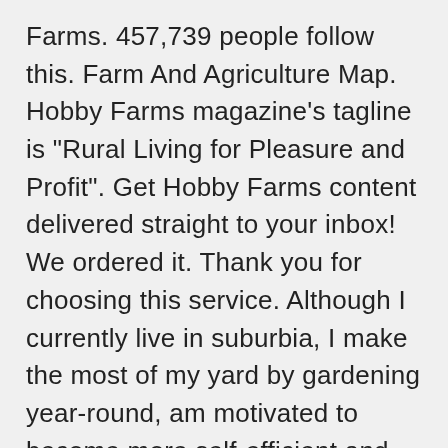Farms. 457,739 people follow this. Farm And Agriculture Map. Hobby Farms magazine's tagline is "Rural Living for Pleasure and Profit". Get Hobby Farms content delivered straight to your inbox! We ordered it. Thank you for choosing this service. Although I currently live in suburbia, I make the most of my yard by gardening year-round, am motivated to become more self-efficient and make the move to a rural community in the not so distant future. Addresses basic and core information for newcomers, but also dives into advanced how-to information and numerous resources for more information. Hobby Farms Magazine Delivery Information. Try FREE for 7